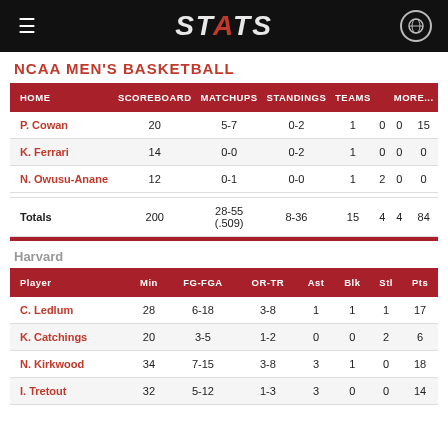STATS
NCAA MEN'S BASKETBALL
| HOME | SCOREBOARD | MATCHUPS | STANDINGS | TEAMS |  | MORE... |
| --- | --- | --- | --- | --- | --- | --- |
| P. Cowan | 20 | 5-7 | 0-2 | 1 | 0 | 0 | 15 |
| K. Ferrari | 14 | 0-0 | 0-2 | 1 | 0 | 0 | 0 |
| N. Owusu-Anane | 12 | 0-1 | 0-0 | 1 | 2 | 0 | 0 |
| Totals | 200 | 28-55 (.509) | 8-36 | 15 | 4 | 4 | 84 |
Harvard
| Player | Min | FG-FGA | OR-TR | Ast | Blk | Stl | Pts |
| --- | --- | --- | --- | --- | --- | --- | --- |
| C. Ledlum | 28 | 6-18 | 3-8 | 1 | 1 | 1 | 17 |
| K. Catchings | 20 | 3-5 | 1-2 | 0 | 0 | 2 | 6 |
| N. Kirkwood | 34 | 7-15 | 3-8 | 3 | 1 | 0 | 18 |
| I. Tretout | 32 | 5-12 | 1-3 | 3 | 0 | 0 | 14 |